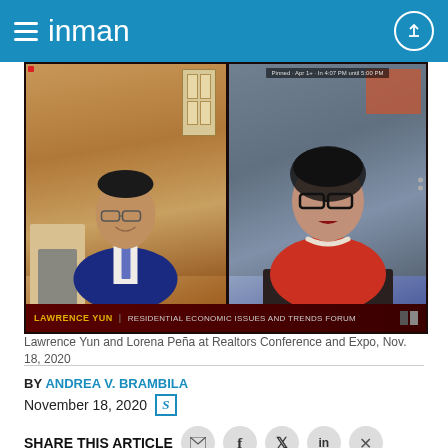inman
[Figure (photo): Screenshot of a video conference showing Lawrence Yun (left, in blue suit and tie) and Lorena Peña (right, in red top with pearl necklace) at the Residential Economic Issues and Trends Forum during the Realtors Conference and Expo]
Lawrence Yun and Lorena Peña at Realtors Conference and Expo, Nov. 18, 2020
BY ANDREA V. BRAMBILA
November 18, 2020
SHARE THIS ARTICLE